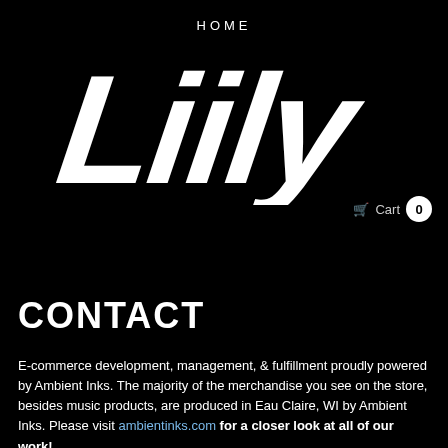HOME
[Figure (logo): Liily brand logo in large white italic stylized font on black background]
Cart 0
CONTACT
E-commerce development, management, & fulfillment proudly powered by Ambient Inks. The majority of the merchandise you see on the store, besides music products, are produced in Eau Claire, WI by Ambient Inks. Please visit ambientinks.com for a closer look at all of our work!